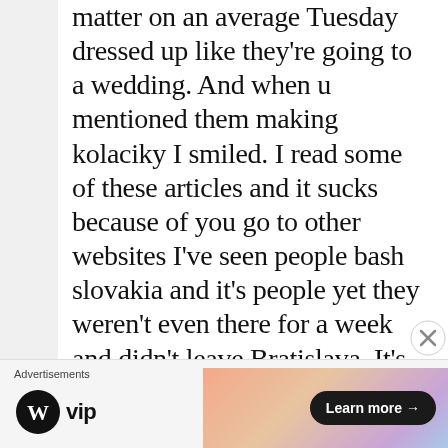matter on an average Tuesday dressed up like they're going to a wedding. And when u mentioned them making kolaciky I smiled. I read some of these articles and it sucks because of you go to other websites I've seen people bash slovakia and it's people yet they weren't even there for a week and didn't leave Bratislava. It's just nice to see someone joking around who actually knows something about this country
[Figure (other): Advertisements bar with WordPress VIP logo on left and a colorful gradient banner ad with 'Learn more →' button on right. A close (X) button appears in the upper right corner of the ad area.]